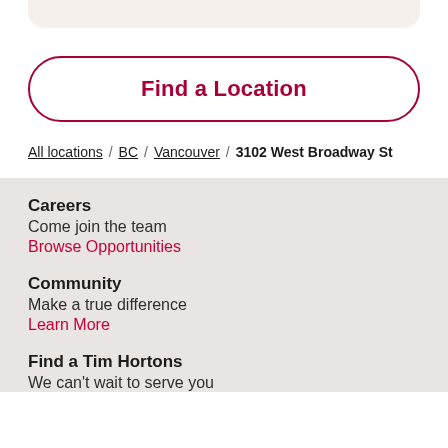Find a Location
All locations / BC / Vancouver / 3102 West Broadway St
Careers
Come join the team
Browse Opportunities
Community
Make a true difference
Learn More
Find a Tim Hortons
We can't wait to serve you